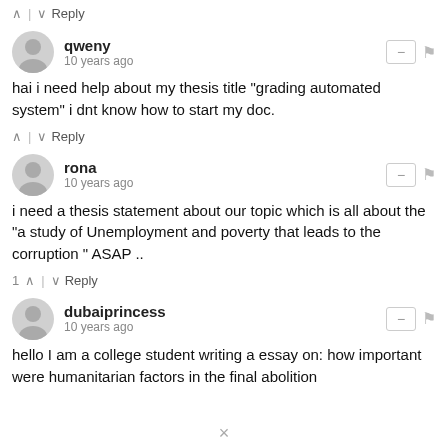^ | v Reply
qweny · 10 years ago
hai i need help about my thesis title "grading automated system" i dnt know how to start my doc.
^ | v Reply
rona · 10 years ago
i need a thesis statement about our topic which is all about the "a study of Unemployment and poverty that leads to the corruption " ASAP ..
1 ^ | v Reply
dubaiprincess · 10 years ago
hello I am a college student writing a essay on: how important were humanitarian factors in the final abolition